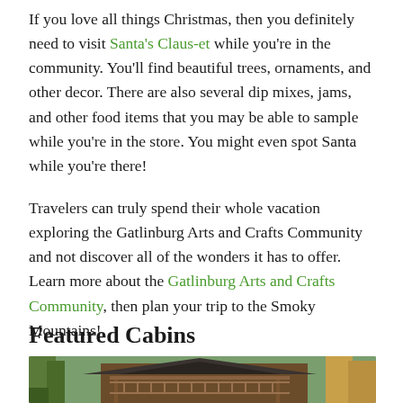If you love all things Christmas, then you definitely need to visit Santa's Claus-et while you're in the community. You'll find beautiful trees, ornaments, and other decor. There are also several dip mixes, jams, and other food items that you may be able to sample while you're in the store. You might even spot Santa while you're there!
Travelers can truly spend their whole vacation exploring the Gatlinburg Arts and Crafts Community and not discover all of the wonders it has to offer. Learn more about the Gatlinburg Arts and Crafts Community, then plan your trip to the Smoky Mountains!
Featured Cabins
[Figure (photo): A wooden cabin with a covered porch/balcony surrounded by autumn trees with colorful foliage.]